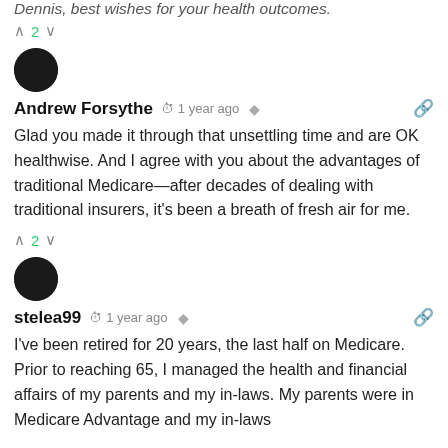Dennis, best wishes for your health outcomes.
∧ 2 ∨
[Figure (illustration): Dark circular avatar for Andrew Forsythe]
Andrew Forsythe  🕐 1 year ago  share  🔗
Glad you made it through that unsettling time and are OK healthwise. And I agree with you about the advantages of traditional Medicare—after decades of dealing with traditional insurers, it's been a breath of fresh air for me.
∧ 2 ∨
[Figure (illustration): Dark circular avatar for stelea99]
stelea99  🕐 1 year ago  share  🔗
I've been retired for 20 years, the last half on Medicare. Prior to reaching 65, I managed the health and financial affairs of my parents and my in-laws. My parents were in Medicare Advantage and my in-laws